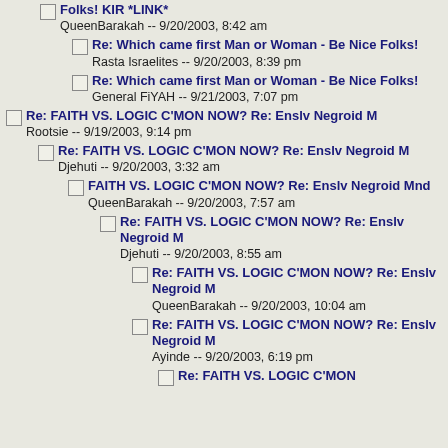Folks! KIR *LINK* -- QueenBarakah -- 9/20/2003, 8:42 am
Re: Which came first Man or Woman - Be Nice Folks! -- Rasta Israelites -- 9/20/2003, 8:39 pm
Re: Which came first Man or Woman - Be Nice Folks! -- General FiYAH -- 9/21/2003, 7:07 pm
Re: FAITH VS. LOGIC C'MON NOW? Re: Enslv Negroid M -- Rootsie -- 9/19/2003, 9:14 pm
Re: FAITH VS. LOGIC C'MON NOW? Re: Enslv Negroid M -- Djehuti -- 9/20/2003, 3:32 am
FAITH VS. LOGIC C'MON NOW? Re: Enslv Negroid Mnd -- QueenBarakah -- 9/20/2003, 7:57 am
Re: FAITH VS. LOGIC C'MON NOW? Re: Enslv Negroid M -- Djehuti -- 9/20/2003, 8:55 am
Re: FAITH VS. LOGIC C'MON NOW? Re: Enslv Negroid M -- QueenBarakah -- 9/20/2003, 10:04 am
Re: FAITH VS. LOGIC C'MON NOW? Re: Enslv Negroid M -- Ayinde -- 9/20/2003, 6:19 pm
Re: FAITH VS. LOGIC C'MON NOW?